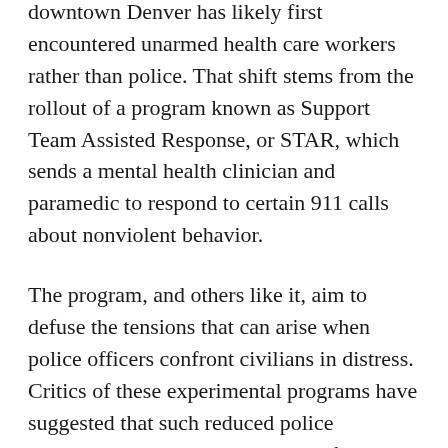downtown Denver has likely first encountered unarmed health care workers rather than police. That shift stems from the rollout of a program known as Support Team Assisted Response, or STAR, which sends a mental health clinician and paramedic to respond to certain 911 calls about nonviolent behavior.
The program, and others like it, aim to defuse the tensions that can arise when police officers confront civilians in distress. Critics of these experimental programs have suggested that such reduced police involvement could allow crime to flourish. Now, researchers have found that during its pilot phase, the STAR program did not appear to lead to more violent crime. And reports of minor crimes substantially decreased, the researchers conclude June 8 in Science Advances.
Much of that reduction occurred because the health responders do not issue citations or make arrests (SN: 12/18/21). But even that reduction in reported crime is